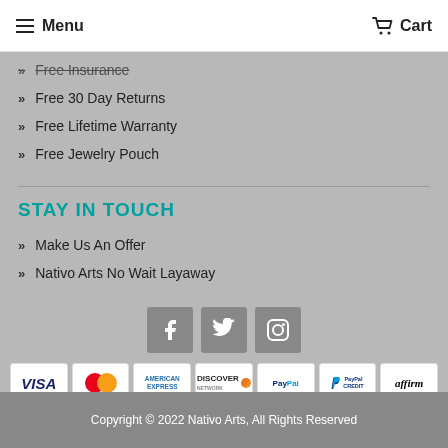Menu | Cart
Free Insurance
Free 30 Day Returns
Free Lifetime Warranty
Free Jewelry Pouch
STAY IN TOUCH
Make Us An Offer
Nativo Arts No Wait Layaway
[Figure (logo): Social media icons: Facebook, Twitter, Instagram]
[Figure (logo): Payment method logos: VISA, MasterCard, American Express, Discover, PayPal, PayPal Credit, Affirm]
Copyright © 2022 Nativo Arts, All Rights Reserved